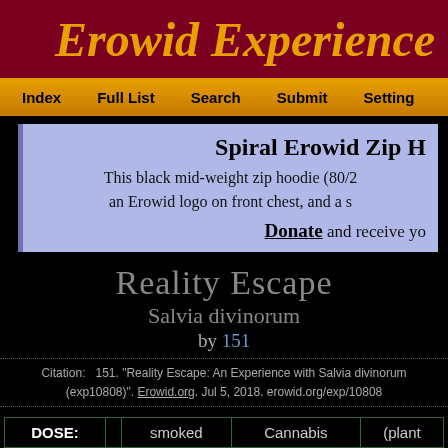Erowid Experience V
Index  Full List  Search  Submit  Setting
[Figure (other): Promotional banner for Spiral Erowid Zip Hoodie with blue/lavender background]
Reality Escape
Salvia divinorum
by 151
Citation:   151. "Reality Escape: An Experience with Salvia divinorum (exp10808)". Erowid.org. Jul 5, 2018. erowid.org/exp/10808
| DOSE: |  | smoked | Cannabis | (plant |
| --- | --- | --- | --- | --- |